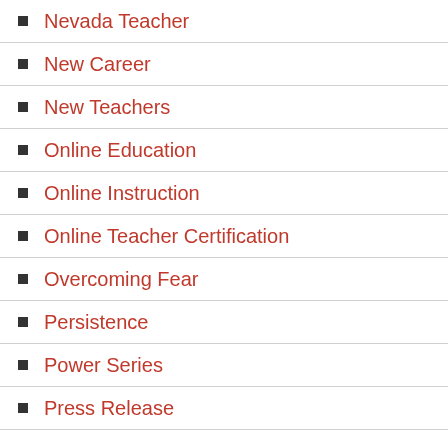Nevada Teacher
New Career
New Teachers
Online Education
Online Instruction
Online Teacher Certification
Overcoming Fear
Persistence
Power Series
Press Release